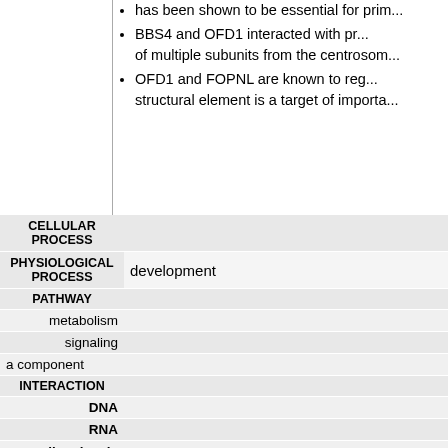has been shown to be essential for pri...
BBS4 and OFD1 interacted with pr... of multiple subunits from the centrosom...
OFD1 and FOPNL are known to re... structural element is a target of importa...
| Category | Value |
| --- | --- |
| CELLULAR PROCESS |  |
| PHYSIOLOGICAL PROCESS | development |
| PATHWAY |  |
| metabolism |  |
| signaling |  |
| a component |  |
| INTERACTION |  |
| DNA |  |
| RNA |  |
| small molecule |  |
| protein | directly binds to the ciliary protein b... |
|  | interacting with RUVBL1 [PubMed] |
|  | direct interaction of FAM161A with... hereditary retinal degeneration [PubMed] |
|  | localizes to centriolar satellites, inte... CEP290 and BBS4 |